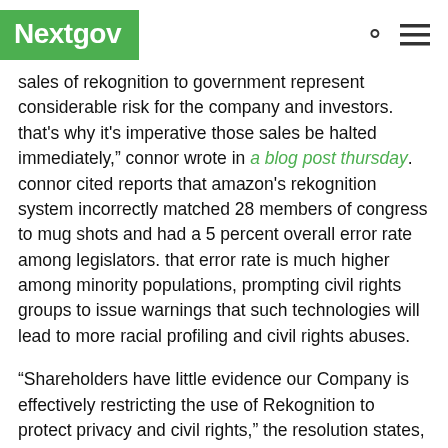Nextgov
sales of Rekognition to government represent considerable risk for the company and investors. That's why it's imperative those sales be halted immediately," Connor wrote in a blog post Thursday. Connor cited reports that Amazon's Rekognition system incorrectly matched 28 members of Congress to mug shots and had a 5 percent overall error rate among legislators. That error rate is much higher among minority populations, prompting civil rights groups to issue warnings that such technologies will lead to more racial profiling and civil rights abuses.
“Shareholders have little evidence our Company is effectively restricting the use of Rekognition to protect privacy and civil rights,” the resolution states, citing Amazon Web Services Vice President Teresa Carlson’s statements to a reporter that the company is “unwaveringly in support of our law enforcement, defense and intelligence community.”